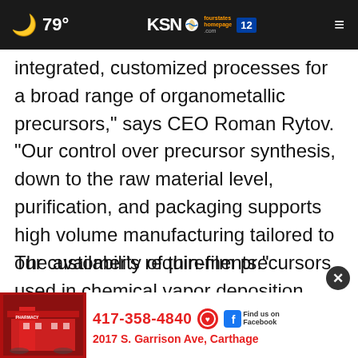79° KSN fourstates homepage.com 12
integrated, customized processes for a broad range of organometallic precursors," says CEO Roman Rytov. "Our control over precursor synthesis, down to the raw material level, purification, and packaging supports high volume manufacturing tailored to our customer's requirements."
The availability of thin-film precursors used in chemical vapor deposition (CVD) or atomic layer depo... production of semiconductors and other
[Figure (advertisement): Pharmacy advertisement banner with phone number 417-358-4840, address 2017 S. Garrison Ave, Carthage, and Facebook link]